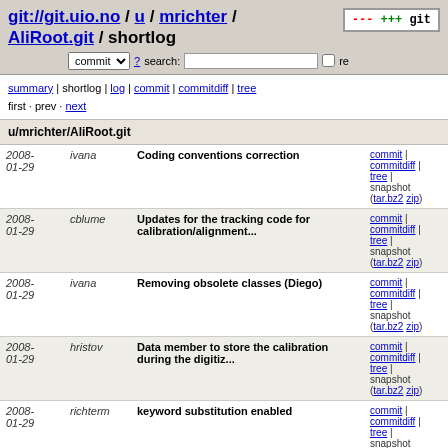git://git.uio.no / u / mrichter / AliRoot.git / shortlog
u/mrichter/AliRoot.git
| Date | Author | Message | Links |
| --- | --- | --- | --- |
| 2008-01-29 | ivana | Coding conventions correction | commit | commitdiff | tree | snapshot (tar.bz2 zip) |
| 2008-01-29 | cblume | Updates for the tracking code for calibration/alignment... | commit | commitdiff | tree | snapshot (tar.bz2 zip) |
| 2008-01-29 | ivana | Removing obsolete classes (Diego) | commit | commitdiff | tree | snapshot (tar.bz2 zip) |
| 2008-01-29 | hristov | Data member to store the calibration during the digitiz... | commit | commitdiff | tree | snapshot (tar.bz2 zip) |
| 2008-01-29 | richterm | keyword substitution enabled | commit | commitdiff | tree | snapshot (tar.bz2 zip) |
| 2008-01-29 | richterm | documentation and keyword substitution fixed... | commit | commitdiff |